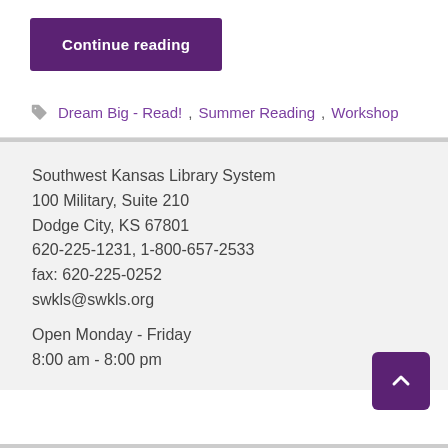Continue reading
Dream Big - Read!, Summer Reading, Workshop
Southwest Kansas Library System
100 Military, Suite 210
Dodge City, KS 67801
620-225-1231, 1-800-657-2533
fax: 620-225-0252
swkls@swkls.org

Open Monday - Friday
8:00 am - 8:00 pm